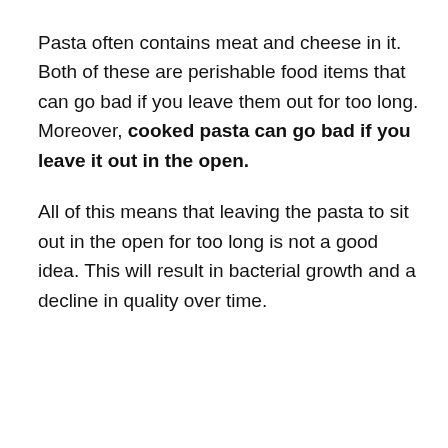Pasta often contains meat and cheese in it. Both of these are perishable food items that can go bad if you leave them out for too long. Moreover, cooked pasta can go bad if you leave it out in the open.
All of this means that leaving the pasta to sit out in the open for too long is not a good idea. This will result in bacterial growth and a decline in quality over time.